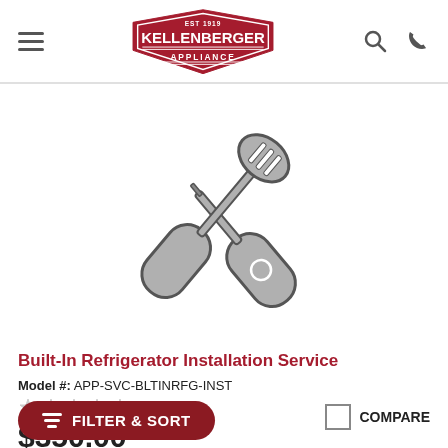Kellenberger Appliance
[Figure (illustration): Crossed screwdriver and wrench/spatula tools in gray, representing an installation service]
Built-In Refrigerator Installation Service
Model #: APP-SVC-BLTINRFG-INST
★★★★★ (0)
$350.00